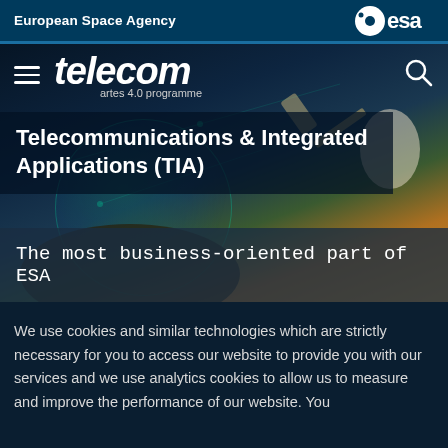European Space Agency
[Figure (logo): ESA logo — circular dot symbol followed by 'esa' text in white on dark blue background]
[Figure (screenshot): ESA Telecom ARTES 4.0 programme website hero image showing a hand holding a glowing network globe with satellites, with 'Telecommunications & Integrated Applications (TIA)' title overlay and 'The most business-oriented part of ESA' subtitle band]
We use cookies and similar technologies which are strictly necessary for you to access our website to provide you with our services and we use analytics cookies to allow us to measure and improve the performance of our website. You